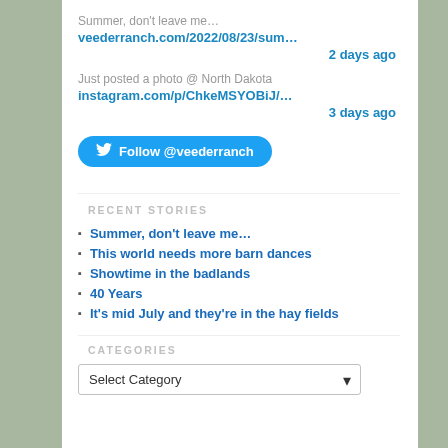Summer, don't leave me…
veederranch.com/2022/08/23/sum…
2 days ago
Just posted a photo @ North Dakota
instagram.com/p/ChkeMSYOBiJ/…
3 days ago
Follow @veederranch
RECENT STORIES
Summer, don't leave me…
This world needs more barn dances
Showtime in the badlands
40 Years
It's mid July and they're in the hay fields
CATEGORIES
Select Category